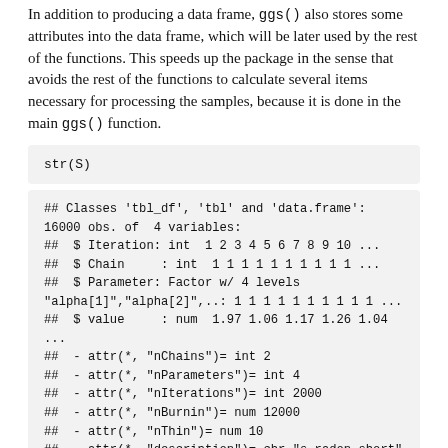In addition to producing a data frame, ggs() also stores some attributes into the data frame, which will be later used by the rest of the functions. This speeds up the package in the sense that avoids the rest of the functions to calculate several items necessary for processing the samples, because it is done in the main ggs() function.
## Classes 'tbl_df', 'tbl' and 'data.frame':
16000 obs. of  4 variables:
##  $ Iteration: int  1 2 3 4 5 6 7 8 9 10 ...
##  $ Chain    : int  1 1 1 1 1 1 1 1 1 1 ...
##  $ Parameter: Factor w/ 4 levels
"alpha[1]","alpha[2]",..: 1 1 1 1 1 1 1 1 1 1 ...
##  $ value    : num  1.97 1.06 1.17 1.26 1.04 ...
##  - attr(*, "nChains")= int 2
##  - attr(*, "nParameters")= int 4
##  - attr(*, "nIterations")= int 2000
##  - attr(*, "nBurnin")= num 12000
##  - attr(*, "nThin")= num 10
##  - attr(*, "description")= chr "s.radon.short"
In addition to ggs(), a set of attributes become available...